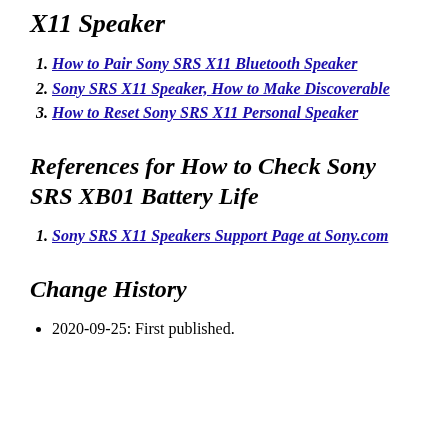X11 Speaker
How to Pair Sony SRS X11 Bluetooth Speaker
Sony SRS X11 Speaker, How to Make Discoverable
How to Reset Sony SRS X11 Personal Speaker
References for How to Check Sony SRS XB01 Battery Life
Sony SRS X11 Speakers Support Page at Sony.com
Change History
2020-09-25: First published.